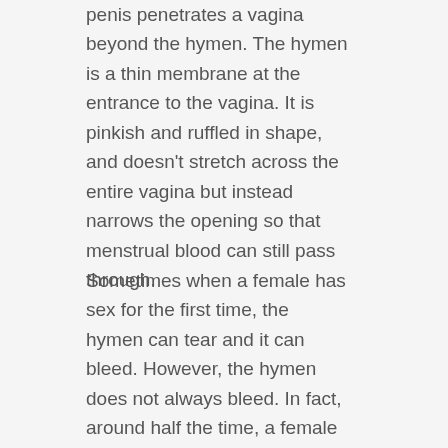penis penetrates a vagina beyond the hymen. The hymen is a thin membrane at the entrance to the vagina. It is pinkish and ruffled in shape, and doesn't stretch across the entire vagina but instead narrows the opening so that menstrual blood can still pass through.
Sometimes when a female has sex for the first time, the hymen can tear and it can bleed. However, the hymen does not always bleed. In fact, around half the time, a female won't bleed the first time she has sex. This is because the hymen can stretch instead of tear. Whether or not your hymen stretches or tears, you might still feel pain the first